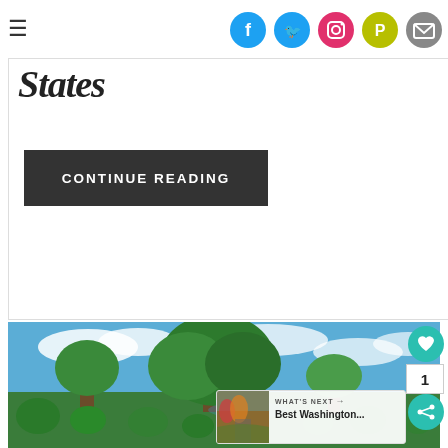≡ [social icons: Facebook, Twitter, Instagram, Pinterest, Email]
States
CONTINUE READING
[Figure (photo): A lush green park with large trees, manicured topiary bushes, and a bright blue sky with white clouds. In the bottom right corner is a 'What's Next' overlay showing a thumbnail of an autumn road scene with the text 'Best Washington...']